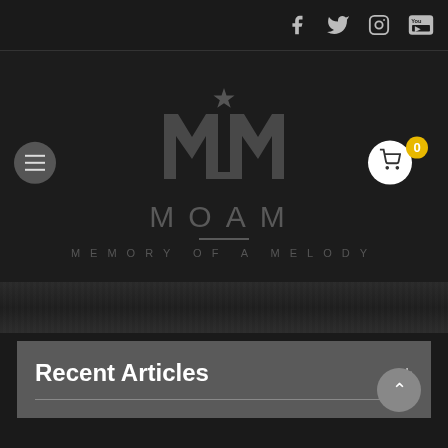Social icons: Facebook, Twitter, Instagram, YouTube
[Figure (logo): MOAM - Memory of a Melody logo with stylized MM monogram and star on dark background. Hamburger menu button on left, shopping cart with badge '0' on right.]
Recent Articles